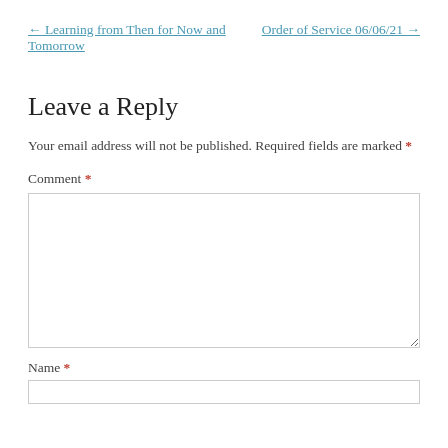← Learning from Then for Now and Tomorrow    Order of Service 06/06/21 →
Leave a Reply
Your email address will not be published. Required fields are marked *
Comment *
Name *